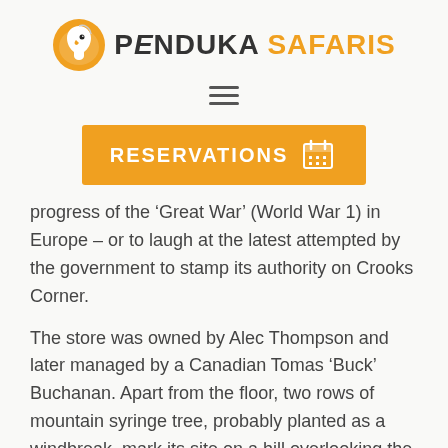[Figure (logo): Penduka Safaris logo: eagle bird icon in orange circle on left, text 'PENDUKA SAFARIS' on right with PENDUKA in dark and SAFARIS in orange]
[Figure (other): Hamburger menu icon — three horizontal dark lines]
[Figure (other): Orange 'RESERVATIONS' button with calendar icon]
progress of the ‘Great War’ (World War 1) in Europe – or to laugh at the latest attempted by the government to stamp its authority on Crooks Corner.
The store was owned by Alec Thompson and later managed by a Canadian Tomas ‘Buck’ Buchanan. Apart from the floor, two rows of mountain syringe tree, probably planted as a windbreak, mark its site on a hill overlooking the Limpopo River.